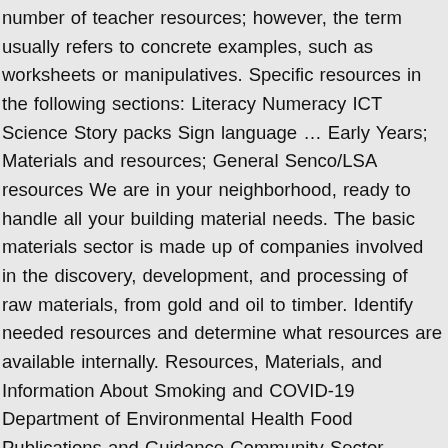number of teacher resources; however, the term usually refers to concrete examples, such as worksheets or manipulatives. Specific resources in the following sections: Literacy Numeracy ICT Science Story packs Sign language … Early Years; Materials and resources; General Senco/LSA resources We are in your neighborhood, ready to handle all your building material needs. The basic materials sector is made up of companies involved in the discovery, development, and processing of raw materials, from gold and oil to timber. Identify needed resources and determine what resources are available internally. Resources, Materials, and Information About Smoking and COVID-19 Department of Environmental Health Food Publications and Guidance Community Sector Support—Information tailored to a variety of organization, agencies, and groups. External Resources. Materials and Resources. Science Courseware Rush University Medical Center by Perkins + Will Goes Gold, Chidley North Hall's Green Design Receives Gold, Beyond LEDs: Try Brighter Energy Saving Flat Panel Lights Based on Carbon Nanotubes. Intus